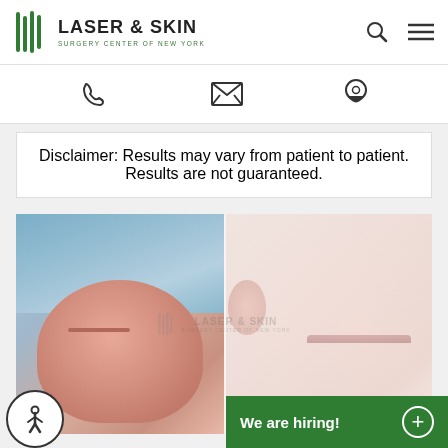[Figure (logo): Laser & Skin Surgery Center of New York logo with green vertical lines icon and text]
[Figure (infographic): Contact icons: phone, email envelope, location pin]
Disclaimer: Results may vary from patient to patient. Results are not guaranteed.
[Figure (photo): Before and after comparison photos of an infant/child's face showing skin treatment results. Left image shows baby with reddened skin, right image shows clearer skin after treatment. Laser & Skin Surgery Center of New York watermark visible.]
[Figure (infographic): Accessibility button (wheelchair icon) and green hiring banner reading 'We are hiring!' with a plus button]